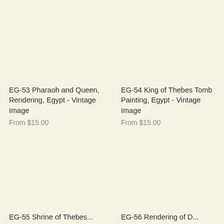EG-53 Pharaoh and Queen, Rendering, Egypt - Vintage Image
From $15.00
EG-54 King of Thebes Tomb Painting, Egypt - Vintage Image
From $15.00
EG-55 Shrine of Thebes...
EG-56 Rendering of D...